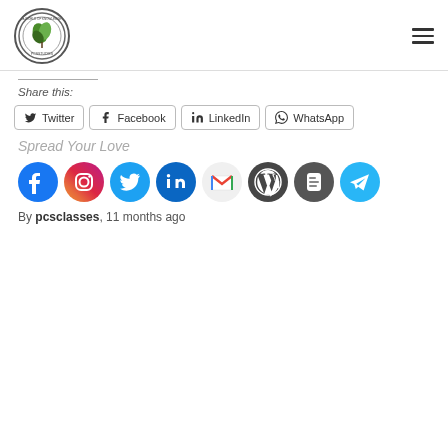[Figure (logo): PCS Studies circular logo with green leaf icon]
[Figure (other): Hamburger menu icon (three horizontal lines)]
Share this:
Twitter
Facebook
LinkedIn
WhatsApp
Spread Your Love
[Figure (other): Row of social media icons: Facebook, Instagram, Twitter, LinkedIn, Gmail, WordPress, Blogger, Telegram]
By pcsclasses, 11 months ago